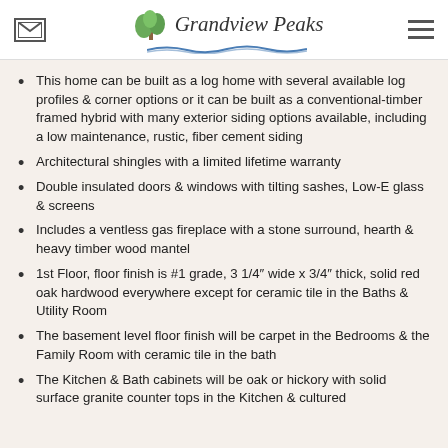Grandview Peaks
This home can be built as a log home with several available log profiles & corner options or it can be built as a conventional-timber framed hybrid with many exterior siding options available, including a low maintenance, rustic, fiber cement siding
Architectural shingles with a limited lifetime warranty
Double insulated doors & windows with tilting sashes, Low-E glass & screens
Includes a ventless gas fireplace with a stone surround, hearth & heavy timber wood mantel
1st Floor, floor finish is #1 grade, 3 1/4" wide x 3/4" thick, solid red oak hardwood everywhere except for ceramic tile in the Baths & Utility Room
The basement level floor finish will be carpet in the Bedrooms & the Family Room with ceramic tile in the bath
The Kitchen & Bath cabinets will be oak or hickory with solid surface granite counter tops in the Kitchen & cultured marble tops in the Baths